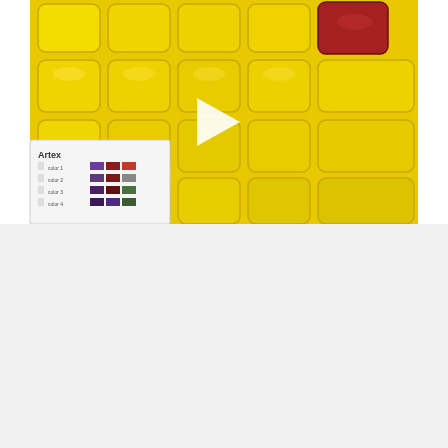[Figure (photo): Close-up photo of a yellow silicone ice cube tray filled with yellow cubes and one red cube in the top right corner. A color chart booklet (Artex brand) is visible in the lower left, showing color swatches in purple, red, gray, and green shades. A white play button triangle overlay is centered on the image, indicating a video thumbnail.]
[Figure (photo): Photo of a white sketchbook or notepad lying at an angle on a marble surface. The cover features black line art illustrations of various botanical elements including flowers, leaves, branches, and berries arranged in a decorative cluster pattern.]